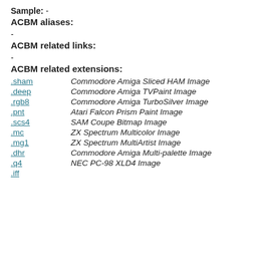Sample: -
ACBM aliases:
-
ACBM related links:
-
ACBM related extensions:
| .sham | Commodore Amiga Sliced HAM Image |
| .deep | Commodore Amiga TVPaint Image |
| .rgb8 | Commodore Amiga TurboSilver Image |
| .pnt | Atari Falcon Prism Paint Image |
| .scs4 | SAM Coupe Bitmap Image |
| .mc | ZX Spectrum Multicolor Image |
| .mg1 | ZX Spectrum MultiArtist Image |
| .dhr | Commodore Amiga Multi-palette Image |
| .q4 | NEC PC-98 XLD4 Image |
| .iff |  |